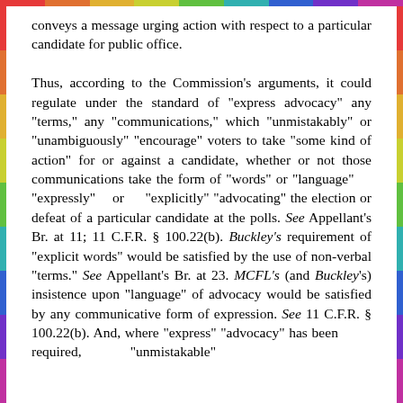conveys a message urging action with respect to a particular candidate for public office.

Thus, according to the Commission's arguments, it could regulate under the standard of "express advocacy" any "terms," any "communications," which "unmistakably" or "unambiguously" "encourage" voters to take "some kind of action" for or against a candidate, whether or not those communications take the form of "words" or "language" "expressly" or "explicitly" "advocating" the election or defeat of a particular candidate at the polls. See Appellant's Br. at 11; 11 C.F.R. § 100.22(b). Buckley's requirement of "explicit words" would be satisfied by the use of non-verbal "terms." See Appellant's Br. at 23. MCFL's (and Buckley's) insistence upon "language" of advocacy would be satisfied by any communicative form of expression. See 11 C.F.R. § 100.22(b). And, where "express" "advocacy" has been required, "unmistakable"